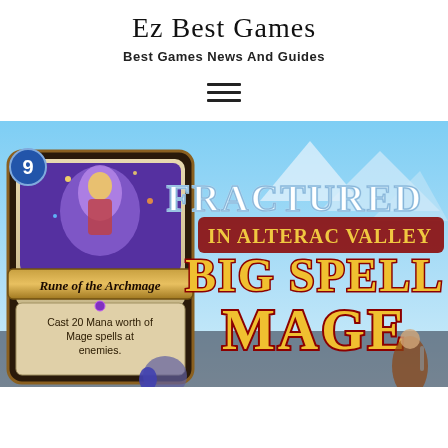Ez Best Games
Best Games News And Guides
[Figure (other): Hamburger menu icon with three horizontal lines]
[Figure (screenshot): Hearthstone card game promotional image showing 'Rune of the Archmage' card (9 mana, Cast 20 Mana worth of Mage spells at enemies.) overlaid on a 'Fractured in Alterac Valley Big Spell Mage' banner with icy mountain background and game characters.]